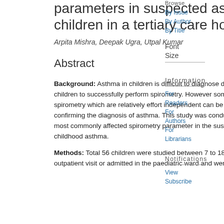parameters in suspected asthmatic children in a tertiary care hospital
Arpita Mishra, Deepak Ugra, Utpal Kumar
Abstract
Background: Asthma in children is difficult to diagnose due to inability of young children to successfully perform spirometry. However some parameters in the spirometry which are relatively effort independent can be very helpful in confirming the diagnosis of asthma. This study was conducted to find out the most commonly affected spirometry parameter in the suspected cases of childhood asthma.
Methods: Total 56 children were studied between 7 to 18 years who came for outpatient visit or admitted in the paediatric ward and were
Browse
By Issue
By Author
By Title
Font
Size
Information
For Readers
For Authors
For Librarians
Notifications
View
Subscribe